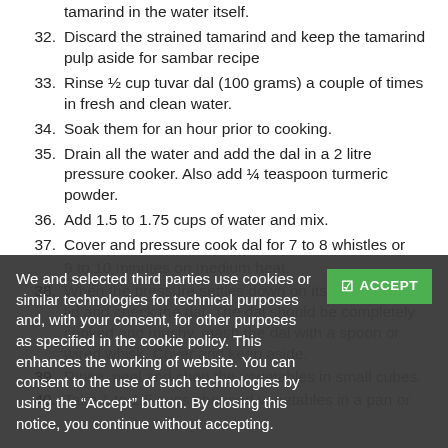tamarind in the water itself.
32. Discard the strained tamarind and keep the tamarind pulp aside for sambar recipe
33. Rinse ½ cup tuvar dal (100 grams) a couple of times in fresh and clean water.
34. Soak them for an hour prior to cooking.
35. Drain all the water and add the dal in a 2 litre pressure cooker. Also add ¼ teaspoon turmeric powder.
36. Add 1.5 to 1.75 cups of water and mix.
37. Cover and pressure cook dal for 7 to 8 whistles or 9 to 10 minutes on medium heat.
38. When the pressure settles down on its own, open the lid and check the dal. The dal should be completely cooked and mushy, mash the dal with a spoon or wired whisk. Cover and keep aside.
39. Rinse, peel and chop the vegetables in small cubes.
40. Take 1 to 1.5 cups chopped vegetables in a pan or
We and selected third parties use cookies or similar technologies for technical purposes and, with your consent, for other purposes as specified in the cookie policy. This enhances the working of website. You can consent to the use of such technologies by using the "Accept" button. By closing this notice, you continue without accepting.